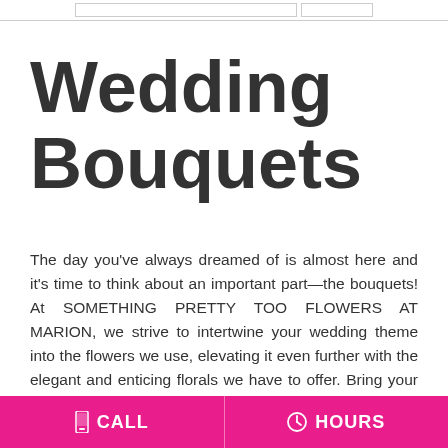Wedding Bouquets
The day you've always dreamed of is almost here and it's time to think about an important part—the bouquets! At SOMETHING PRETTY TOO FLOWERS AT MARION, we strive to intertwine your wedding theme into the flowers we use, elevating it even further with the elegant and enticing florals we have to offer. Bring your wedding-day vision to life and accentuate
CALL   HOURS